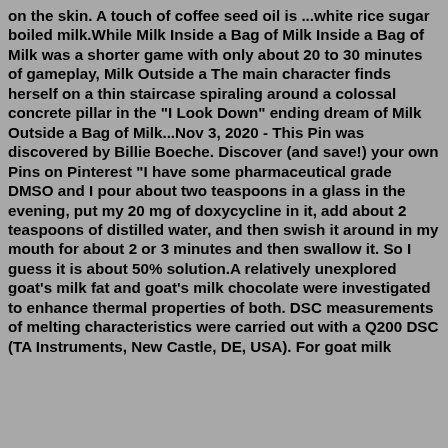on the skin. A touch of coffee seed oil is ...white rice sugar boiled milk.While Milk Inside a Bag of Milk Inside a Bag of Milk was a shorter game with only about 20 to 30 minutes of gameplay, Milk Outside a The main character finds herself on a thin staircase spiraling around a colossal concrete pillar in the "I Look Down" ending dream of Milk Outside a Bag of Milk...Nov 3, 2020 - This Pin was discovered by Billie Boeche. Discover (and save!) your own Pins on Pinterest "I have some pharmaceutical grade DMSO and I pour about two teaspoons in a glass in the evening, put my 20 mg of doxycycline in it, add about 2 teaspoons of distilled water, and then swish it around in my mouth for about 2 or 3 minutes and then swallow it. So I guess it is about 50% solution.A relatively unexplored goat's milk fat and goat's milk chocolate were investigated to enhance thermal properties of both. DSC measurements of melting characteristics were carried out with a Q200 DSC (TA Instruments, New Castle, DE, USA). For goat milk chocolate experiments, h 2-4 cups of raw choco...